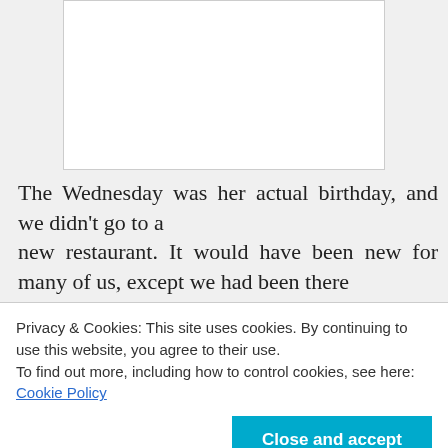[Figure (photo): White rectangular image placeholder area]
The Wednesday was her actual birthday, and we didn't go to a new restaurant. It would have been new for many of us, except we had been there for the Ballroom committee handover the previous
Privacy & Cookies: This site uses cookies. By continuing to use this website, you agree to their use.
To find out more, including how to control cookies, see here: Cookie Policy
those actually used out